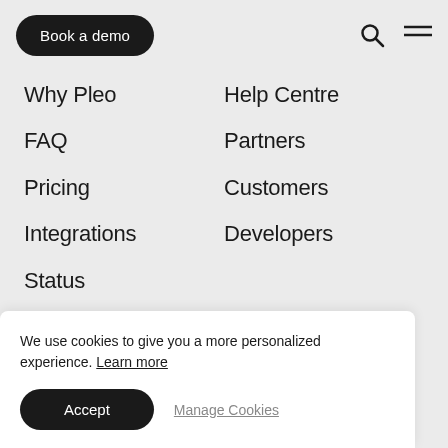Book a demo
Why Pleo
Help Centre
FAQ
Partners
Pricing
Customers
Integrations
Developers
Status
COMPANY
LEGAL
About us
Master Service
Legal
Fraud awareness
We use cookies to give you a more personalized experience. Learn more
Accept
Manage Cookies